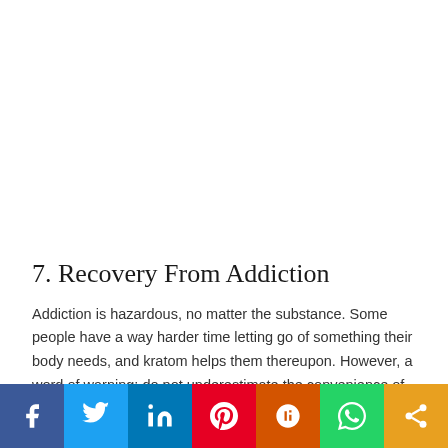[Figure (other): White blank advertisement or image placeholder area at top of page]
7. Recovery From Addiction
Addiction is hazardous, no matter the substance. Some people have a way harder time letting go of something their body needs, and kratom helps them thereupon. However, a word of warning: do not underestimate the convenience of Kratom; we will also become hooked into
[Figure (infographic): Social sharing bar at bottom with icons for Facebook, Twitter, LinkedIn, Pinterest, Mix, WhatsApp, and Share]